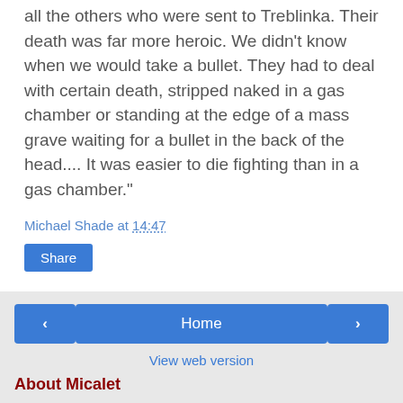all the others who were sent to Treblinka. Their death was far more heroic. We didn't know when we would take a bullet. They had to deal with certain death, stripped naked in a gas chamber or standing at the edge of a mass grave waiting for a bullet in the back of the head.... It was easier to die fighting than in a gas chamber."
Michael Shade at 14:47
Share
No comments:
Post a Comment
‹  Home  ›  View web version  About Micalet